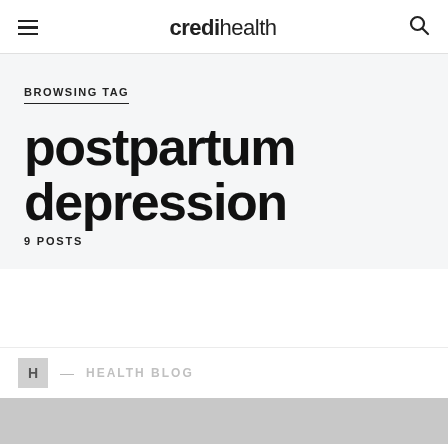credihealth
BROWSING TAG
postpartum depression
9 POSTS
H — HEALTH BLOG